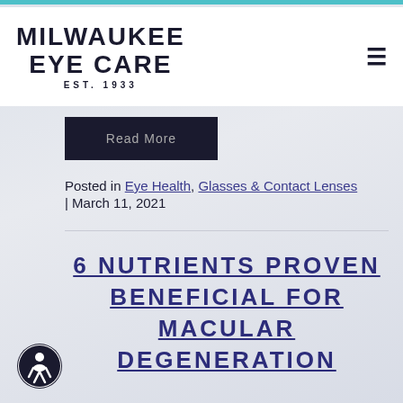MILWAUKEE EYE CARE EST. 1933
Read More
Posted in Eye Health, Glasses & Contact Lenses | March 11, 2021
6 NUTRIENTS PROVEN BENEFICIAL FOR MACULAR DEGENERATION
[Figure (illustration): Accessibility icon - person figure in black circle]